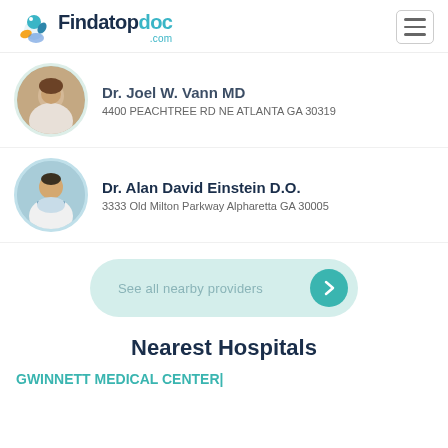Findatopdoc.com
Dr. Joel W. Vann MD
4400 PEACHTREE RD NE ATLANTA GA 30319
Dr. Alan David Einstein D.O.
3333 Old Milton Parkway Alpharetta GA 30005
See all nearby providers
Nearest Hospitals
GWINNETT MEDICAL CENTER|